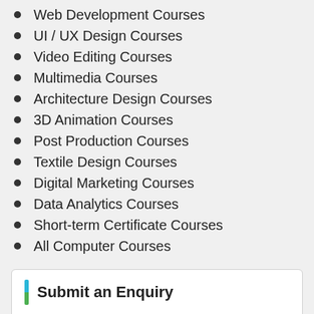Web Development Courses
UI / UX Design Courses
Video Editing Courses
Multimedia Courses
Architecture Design Courses
3D Animation Courses
Post Production Courses
Textile Design Courses
Digital Marketing Courses
Data Analytics Courses
Short-term Certificate Courses
All Computer Courses
Submit an Enquiry
Full Name